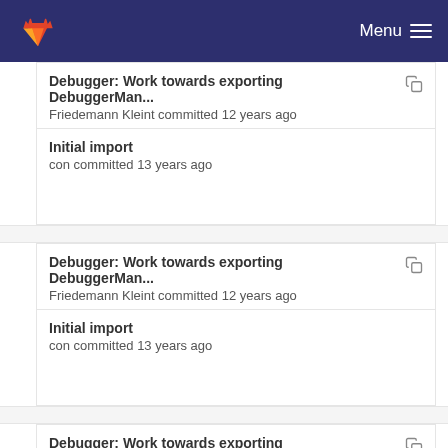Menu
Debugger: Work towards exporting DebuggerMan...
Friedemann Kleint committed 12 years ago
Initial import
con committed 13 years ago
Debugger: Work towards exporting DebuggerMan...
Friedemann Kleint committed 12 years ago
Initial import
con committed 13 years ago
Debugger: Work towards exporting DebuggerMan...
Friedemann Kleint committed 12 years ago
Initial import
con committed 13 years ago